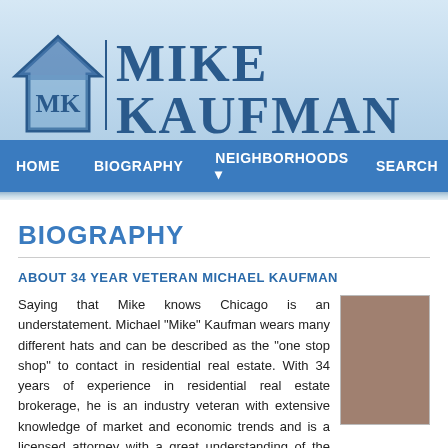[Figure (logo): Mike Kaufman real estate logo with house/MK icon and name in large serif text]
HOME   BIOGRAPHY   NEIGHBORHOODS   SEARCH
BIOGRAPHY
ABOUT 34 YEAR VETERAN MICHAEL KAUFMAN
Saying that Mike knows Chicago is an understatement. Michael "Mike" Kaufman wears many different hats and can be described as the "one stop shop" to contact in residential real estate. With 34 years of experience in residential real estate brokerage, he is an industry veteran with extensive knowledge of market and economic trends and is a licensed attorney with a great understanding of the entire contractual process. Mike
[Figure (photo): Photo of Michael Kaufman, partially visible on right side]